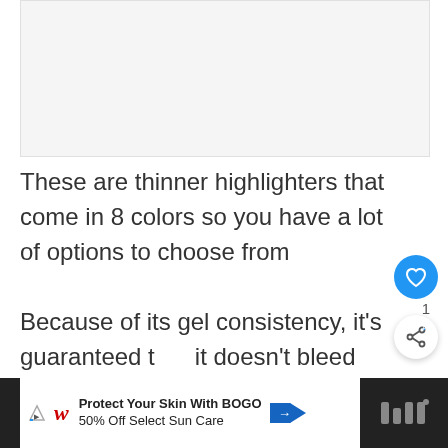[Figure (photo): Product image placeholder (light gray rectangle at top of page)]
These are thinner highlighters that come in 8 colors so you have a lot of options to choose from
Because of its gel consistency, it's guaranteed that it doesn't bleed through thin paper, it doesn't smear, you can glide it smoothly across any surface on your book, and it won't dry out if you le…
[Figure (screenshot): Advertisement bar at bottom: Walgreens ad — Protect Your Skin With BOGO 50% Off Select Sun Care]